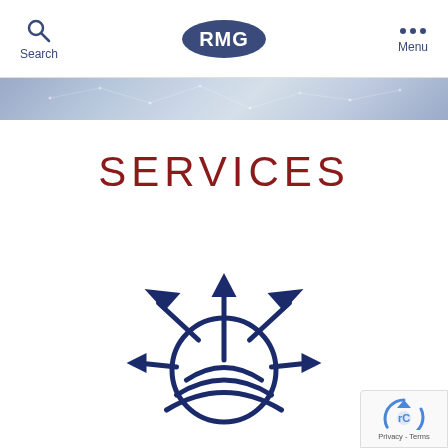Search | RMG | Menu
[Figure (illustration): Decorative banner strip with light blue/grey network pattern]
SERVICES
[Figure (illustration): Dark navy blue icon showing a globe/hemisphere with multiple arrows pointing outward in different directions (up, left, right, and diagonally), representing services or global outreach]
[Figure (logo): reCAPTCHA badge with Google reCAPTCHA logo and Privacy - Terms text]